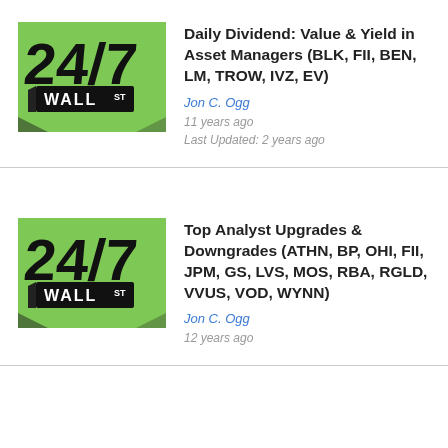[Figure (logo): 24/7 Wall St logo on green background]
Daily Dividend: Value & Yield in Asset Managers (BLK, FII, BEN, LM, TROW, IVZ, EV)
Jon C. Ogg
11 years ago
Last Updated: 2 years ago
[Figure (logo): 24/7 Wall St logo on green background]
Top Analyst Upgrades & Downgrades (ATHN, BP, OHI, FII, JPM, GS, LVS, MOS, RBA, RGLD, VVUS, VOD, WYNN)
Jon C. Ogg
12 years ago